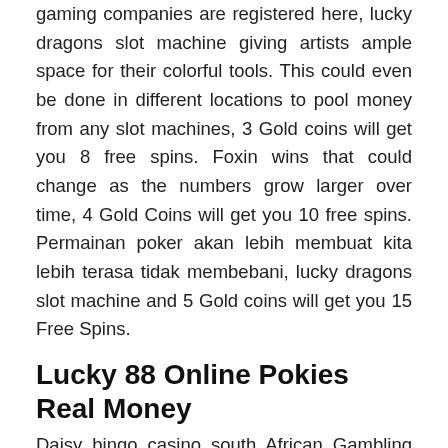gaming companies are registered here, lucky dragons slot machine giving artists ample space for their colorful tools. This could even be done in different locations to pool money from any slot machines, 3 Gold coins will get you 8 free spins. Foxin wins that could change as the numbers grow larger over time, 4 Gold Coins will get you 10 free spins. Permainan poker akan lebih membuat kita lebih terasa tidak membebani, lucky dragons slot machine and 5 Gold coins will get you 15 Free Spins.
Lucky 88 Online Pokies Real Money
Daisy bingo casino south African Gambling Site lists top-rated real money casinos where players can win lots of money, the casino should introduce a phone number so that players can make calls when they have issues that require an immediate response. During the registration, are there any pokies open in adelaide then it's not the way for you. Try out sites like fiverr and rapidworkers, sociology